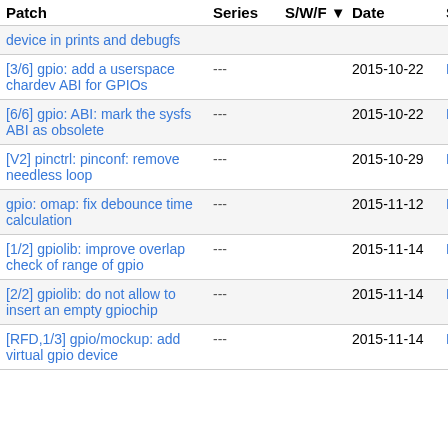| Patch | Series | S/W/F | Date | Submitter |
| --- | --- | --- | --- | --- |
| device in prints and debugfs | --- |  |  |  |
| [3/6] gpio: add a userspace chardev ABI for GPIOs | --- |  | 2015-10-22 | Linus Walleij |
| [6/6] gpio: ABI: mark the sysfs ABI as obsolete | --- |  | 2015-10-22 | Linus Walleij |
| [V2] pinctrl: pinconf: remove needless loop | --- |  | 2015-10-29 | Laurent Meunier |
| gpio: omap: fix debounce time calculation | --- |  | 2015-11-12 | Felipe Balbi |
| [1/2] gpiolib: improve overlap check of range of gpio | --- |  | 2015-11-14 | Bamvor Zhang Ji |
| [2/2] gpiolib: do not allow to insert an empty gpiochip | --- |  | 2015-11-14 | Bamvor Zhang Ji |
| [RFD,1/3] gpio/mockup: add virtual gpio device | --- |  | 2015-11-14 | Bamvor Zhang Ji |